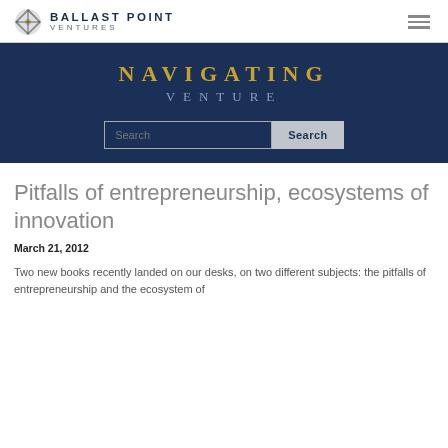BALLAST POINT VENTURES
[Figure (illustration): Navigating Venture banner with search bar on dark navy background]
Pitfalls of entrepreneurship, ecosystems of innovation
March 21, 2012
Two new books recently landed on our desks, on two different subjects: the pitfalls of entrepreneurship and the ecosystem of